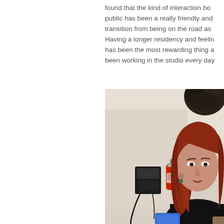found that the kind of interaction bo public has been a really friendly and transition from being on the road as Having a longer residency and feelin has been the most rewarding thing a been working in the studio every day
[Figure (photo): A woman with long red hair wearing a black top, seated indoors. Behind her is a beige wall with a black desk phone mounted on it and a red fire extinguisher. A dark sculptural object is visible in the upper right corner. A blue object is partially visible at the bottom.]